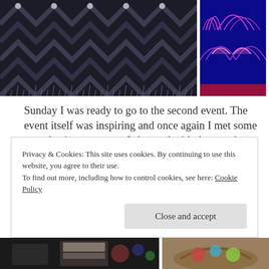[Figure (photo): Dark navy/grey crochet blanket with zigzag pattern, shown laid out or hanging. Large photo on the left.]
[Figure (photo): Colorful crochet garment in blue, purple, pink and red with fan/shell stitch pattern, shown hanging. Smaller photo on the right.]
Sunday I was ready to go to the second event. The event itself was inspiring and once again I met some great business owners. I shopped with them and they with me. I did very well at this event for it to me a small crowd. The people there were very
Privacy & Cookies: This site uses cookies. By continuing to use this website, you agree to their use.
To find out more, including how to control cookies, see here: Cookie Policy
[Figure (photo): Bottom strip showing two partial images: left is a dark image of craft/crochet items with a sign, right is a basket with colorful yarn or items.]